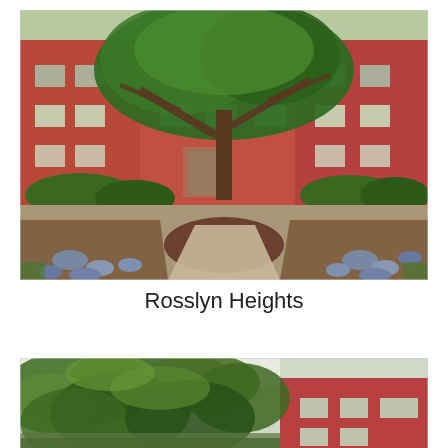[Figure (photo): Exterior photo of Rosslyn Heights apartment building — a three-story red brick structure with large trees in the foreground courtyard, manicured hedges, circular mulched tree bed, concrete walkway with river rock borders, and lush green landscaping.]
Rosslyn Heights
[Figure (photo): Partial exterior photo of another red brick building partially obscured by leafy green trees in the foreground.]